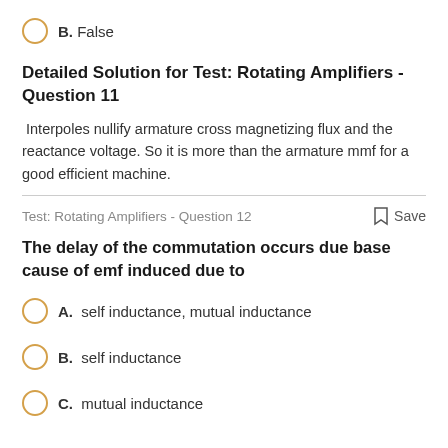B. False
Detailed Solution for Test: Rotating Amplifiers - Question 11
Interpoles nullify armature cross magnetizing flux and the reactance voltage. So it is more than the armature mmf for a good efficient machine.
Test: Rotating Amplifiers - Question 12    Save
The delay of the commutation occurs due base cause of emf induced due to
A. self inductance, mutual inductance
B. self inductance
C. mutual inductance